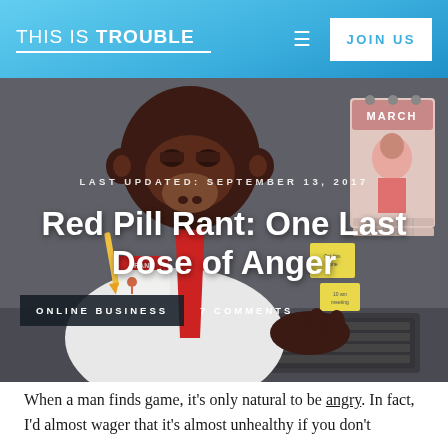THIS IS TROUBLE  JOIN US
[Figure (illustration): Illustrated chimpanzee in a white shirt and red tie, sitting at a desk with a keyboard, sticky notes, and a wall calendar showing 'MARCH' with a pin-up illustration. The chimp has a name badge reading 'FRANK'. Dark grey background.]
LAST UPDATED: SEPTEMBER 13, 2017
Red Pill Rant: One Last Dose of Anger
ONLINE BUSINESS   7 COMMENTS
When a man finds game, it's only natural to be angry. In fact, I'd almost wager that it's almost unhealthy if you don't